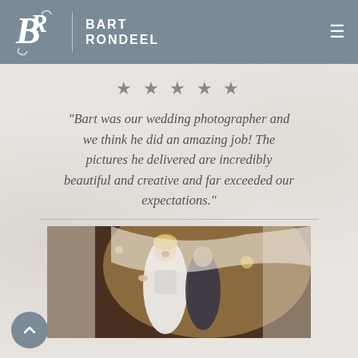BART RONDEEL
★★★★★
"Bart was our wedding photographer and we think he did an amazing job! The pictures he delivered are incredibly beautiful and creative and far exceeded our expectations."
[Figure (photo): Wedding photo showing a bride in a white lace dress laughing excitedly with a groom behind her, entering through draped curtains in a warmly lit venue]